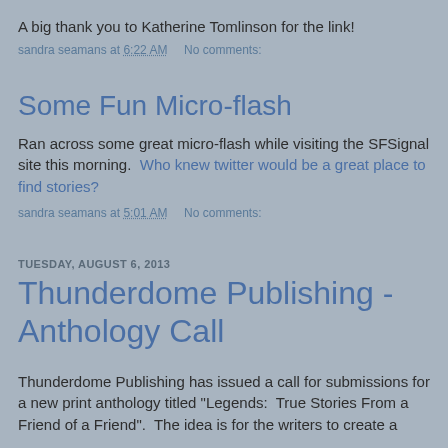A big thank you to Katherine Tomlinson for the link!
sandra seamans at 6:22 AM   No comments:
Some Fun Micro-flash
Ran across some great micro-flash while visiting the SFSignal site this morning.  Who knew twitter would be a great place to find stories?
sandra seamans at 5:01 AM   No comments:
TUESDAY, AUGUST 6, 2013
Thunderdome Publishing - Anthology Call
Thunderdome Publishing has issued a call for submissions for a new print anthology titled "Legends:  True Stories From a Friend of a Friend".  The idea is for the writers to create a